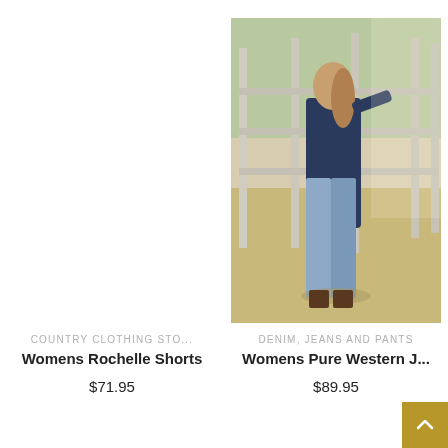[Figure (photo): Left product slot — no image shown, white/blank area]
COUNTRY CLOTHING STO...
Womens Rochelle Shorts
$71.95
[Figure (photo): Woman wearing jeans standing by a metal farm gate/fence, outdoor sandy paddock background, wearing a dark navy long-sleeve top and light blue flared jeans]
DENIM, JEANS AND PANTS
Womens Pure Western J...
$89.95